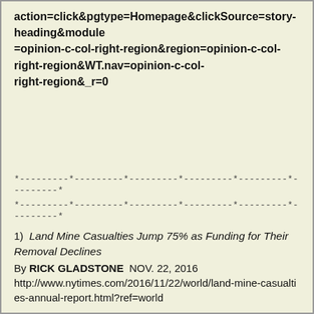action=click&pgtype=Homepage&clickSource=story-heading&module =opinion-c-col-right-region&region=opinion-c-col-right-region&WT.nav=opinion-c-col-right-region&_r=0
*---------*---------*---------*---------*---------*---------*
*---------*---------*---------*---------*---------*---------*
1)  Land Mine Casualties Jump 75% as Funding for Their Removal Declines
By RICK GLADSTONE   NOV. 22, 2016
http://www.nytimes.com/2016/11/22/world/land-mine-casualties-annual-report.html?ref=world